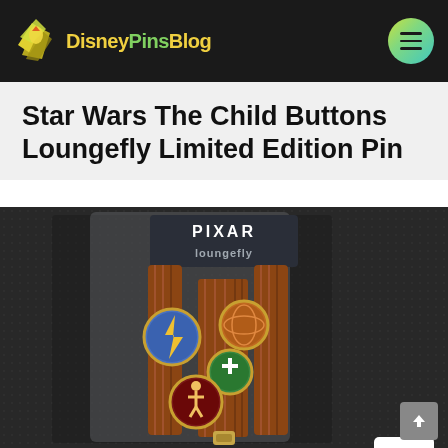DisneyPinsBlog
Star Wars The Child Buttons Loungefly Limited Edition Pin
[Figure (photo): Product photo of a Pixar Loungefly limited edition pin set showing a lanyard with four circular badge pins on a textured dark background. A date badge in the top right shows DEC 29.]